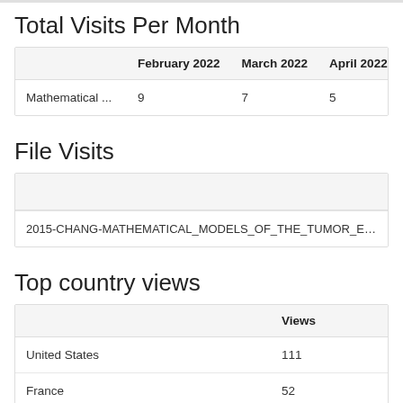Total Visits Per Month
|  | February 2022 | March 2022 | April 2022 | M |
| --- | --- | --- | --- | --- |
| Mathematical ... | 9 | 7 | 5 | 11 |
File Visits
| 2015-CHANG-MATHEMATICAL_MODELS_OF_THE_TUMOR_ECOS |
Top country views
|  | Views |
| --- | --- |
| United States | 111 |
| France | 52 |